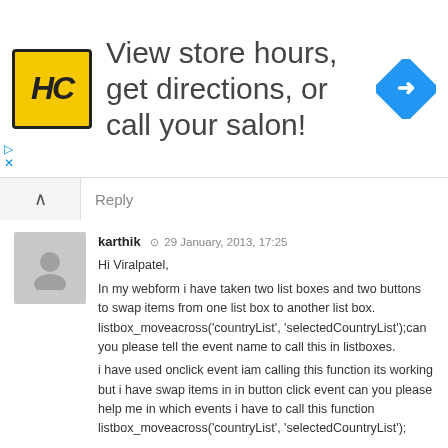[Figure (other): Advertisement banner with HC logo, text 'View store hours, get directions, or call your salon!' and a blue navigation arrow icon. Small close/skip controls at bottom left.]
Reply
karthik  29 January, 2013, 17:25
Hi Viralpatel,
In my webform i have taken two list boxes and two buttons to swap items from one list box to another list box. listbox_moveacross('countryList', 'selectedCountryList');can you please tell the event name to call this in listboxes.
i have used onclick event iam calling this function its working but i have swap items in in button click event can you please help me in which events i have to call this function listbox_moveacross('countryList', 'selectedCountryList');

Thanks,
karthik
Reply